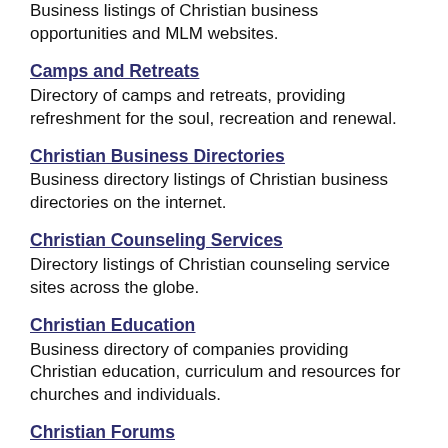Business listings of Christian business opportunities and MLM websites.
Camps and Retreats
Directory of camps and retreats, providing refreshment for the soul, recreation and renewal.
Christian Business Directories
Business directory listings of Christian business directories on the internet.
Christian Counseling Services
Directory listings of Christian counseling service sites across the globe.
Christian Education
Business directory of companies providing Christian education, curriculum and resources for churches and individuals.
Christian Forums
Directory listings of Christian message forum sites for Christians worldwide.
Christian Hair Salons
Directory listings of Christian hair salons and beauty shops across the globe.